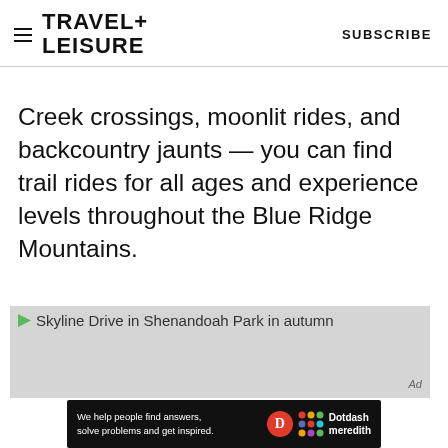TRAVEL+ LEISURE | SUBSCRIBE
Creek crossings, moonlit rides, and backcountry jaunts — you can find trail rides for all ages and experience levels throughout the Blue Ridge Mountains.
[Figure (photo): Skyline Drive in Shenandoah Park in autumn — image placeholder shown as grey box with broken image icon and alt text]
We help people find answers, solve problems and get inspired. Dotdash meredith